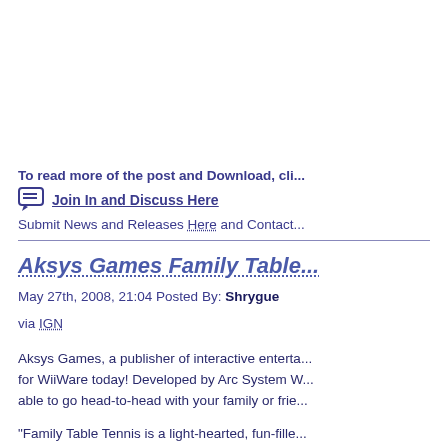To read more of the post and Download, cli...
Join In and Discuss Here
Submit News and Releases Here and Contact...
Aksys Games Family Table...
May 27th, 2008, 21:04 Posted By: Shrygue
via IGN
Aksys Games, a publisher of interactive enterta... for WiiWare today! Developed by Arc System W... able to go head-to-head with your family or frie...
"Family Table Tennis is a light-hearted, fun-fille... deWindt II, Project Lead, Aksys Games. "With... enjoy this title thoroughly."